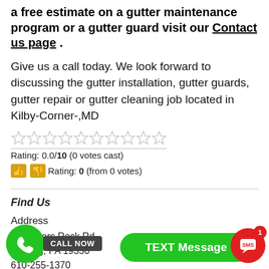a free estimate on a gutter maintenance program or a gutter guard visit our Contact us page .
Give us a call today. We look forward to discussing the gutter installation, gutter guards, gutter repair or gutter cleaning job located in Kilby-Corner-,MD
[Figure (other): 10 empty star rating icons in a row, underlined]
Rating: 0.0/10 (0 votes cast)
👍👎 Rating: 0 (from 0 votes)
Find Us
Address
Chambers Rock Rd
Greenberg, PA 19350
610-255-1370